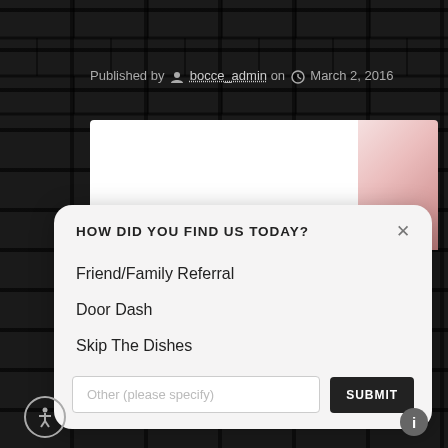Published by bocce_admin on March 2, 2016
[Figure (screenshot): Partial white card with pink/floral image in top right corner]
HOW DID YOU FIND US TODAY?
Friend/Family Referral
Door Dash
Skip The Dishes
Other (please specify)
SUBMIT